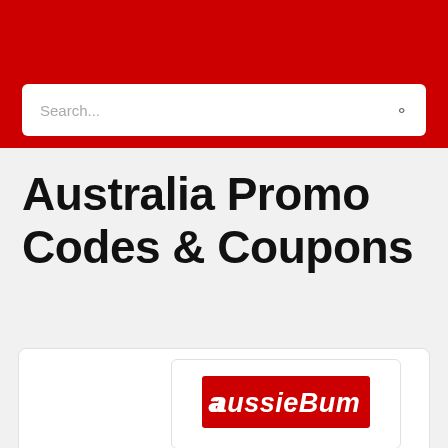Search...
Australia Promo Codes & Coupons
[Figure (logo): aussieBum brand logo — red rectangle with white italic text reading aussieBum]